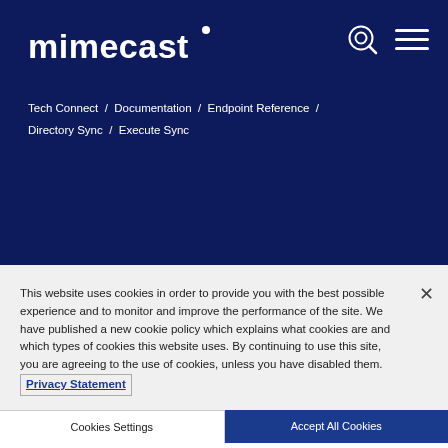[Figure (logo): Mimecast logo in white text on dark navy background]
Tech Connect / Documentation / Endpoint Reference / Directory Sync / Execute Sync
This website uses cookies in order to provide you with the best possible experience and to monitor and improve the performance of the site. We have published a new cookie policy which explains what cookies are and which types of cookies this website uses. By continuing to use this site, you are agreeing to the use of cookies, unless you have disabled them. Privacy Statement
Cookies Settings   Accept All Cookies